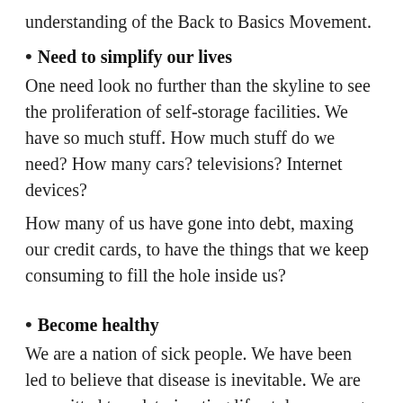understanding of the Back to Basics Movement.
Need to simplify our lives
One need look no further than the skyline to see the proliferation of self-storage facilities. We have so much stuff. How much stuff do we need? How many cars? televisions? Internet devices?
How many of us have gone into debt, maxing our credit cards, to have the things that we keep consuming to fill the hole inside us?
Become healthy
We are a nation of sick people. We have been led to believe that disease is inevitable. We are committed to a deteriorating life-style as we age until the point that we die an unnatural death.